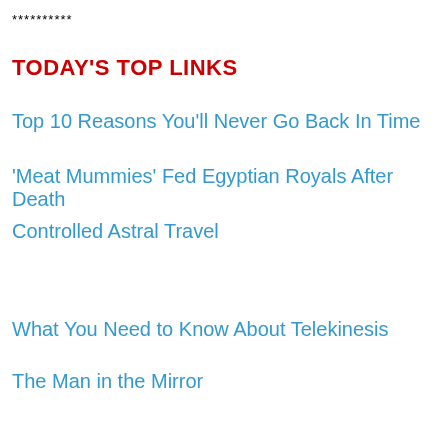**********
TODAY'S TOP LINKS
Top 10 Reasons You'll Never Go Back In Time
'Meat Mummies' Fed Egyptian Royals After Death
Controlled Astral Travel
What You Need to Know About Telekinesis
The Man in the Mirror